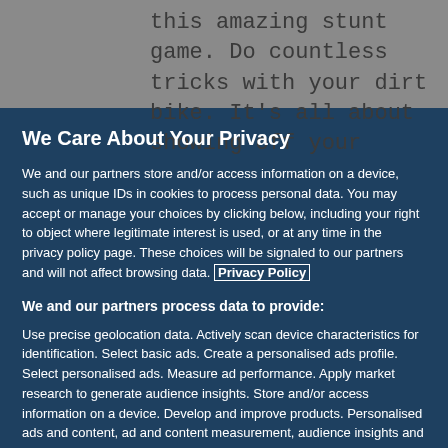this amazing stunt game. Do countless tricks with your dirt bike. It's all about showing off your
We Care About Your Privacy
We and our partners store and/or access information on a device, such as unique IDs in cookies to process personal data. You may accept or manage your choices by clicking below, including your right to object where legitimate interest is used, or at any time in the privacy policy page. These choices will be signaled to our partners and will not affect browsing data. Privacy Policy
We and our partners process data to provide:
Use precise geolocation data. Actively scan device characteristics for identification. Select basic ads. Create a personalised ads profile. Select personalised ads. Measure ad performance. Apply market research to generate audience insights. Store and/or access information on a device. Develop and improve products. Personalised ads and content, ad and content measurement, audience insights and product development.
List of Partners (vendors)